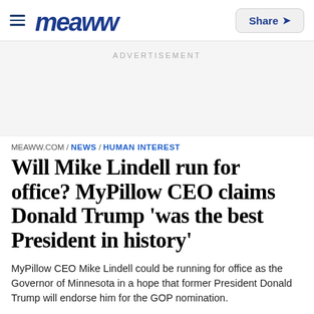meaww  Share
ADVERTISEMENT
MEAWW.COM / NEWS / HUMAN INTEREST
Will Mike Lindell run for office? MyPillow CEO claims Donald Trump 'was the best President in history'
MyPillow CEO Mike Lindell could be running for office as the Governor of Minnesota in a hope that former President Donald Trump will endorse him for the GOP nomination.